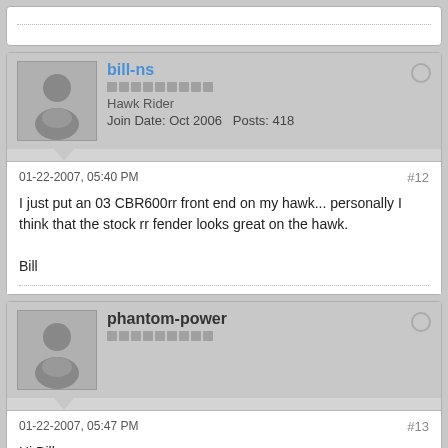bill-ns | Hawk Rider | Join Date: Oct 2006 | Posts: 418
01-22-2007, 05:40 PM | #12
I just put an 03 CBR600rr front end on my hawk... personally I think that the stock rr fender looks great on the hawk.

Bill
phantom-power
01-22-2007, 05:47 PM | #13
Hi Bill